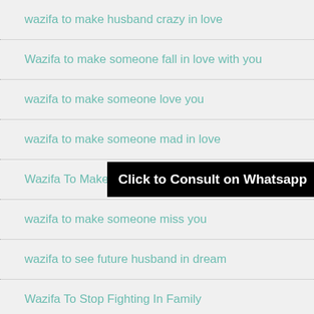wazifa to make husband crazy in love
Wazifa to make someone fall in love with you
wazifa to make someone love you
wazifa to make someone mad in love
Wazifa To Make Someone Mad In Love With You
wazifa to make someone miss you
wazifa to see future husband in dream
Wazifa To Stop Fighting In Family
wazifa to stop husband cheating
wazifa to stop husband from second marriage